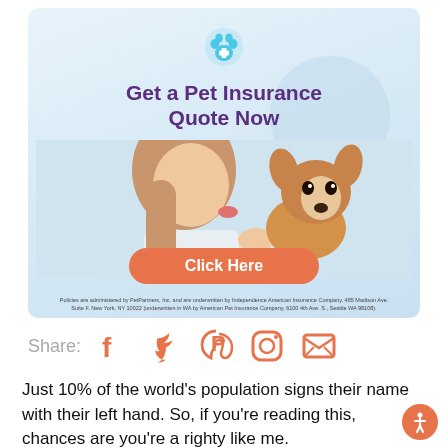[Figure (illustration): Pet insurance advertisement banner with paw print logo, headline 'Get a Pet Insurance Quote Now', photo of woman kissing a puppy, orange 'Click Here' button, and fine print disclaimer at bottom.]
Share:
[Figure (infographic): Social media share icons: Facebook, Twitter, Pinterest, Instagram, Email — all in orange/salmon color.]
Just 10% of the world's population signs their name with their left hand. So, if you're reading this, chances are you're a righty like me.